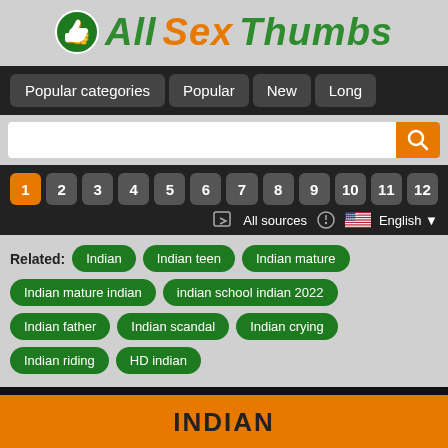All Sex Thumbs
Popular categories | Popular | New | Long
Page numbers: 1 2 3 4 5 6 7 8 9 10 11 12
All sources  English
Related: Indian  Indian teen  Indian mature  Indian mature indian  indian school indian 2022  Indian father  Indian scandal  Indian crying  Indian riding  HD indian
showing 0-100 of 10000 total videos
INDIAN